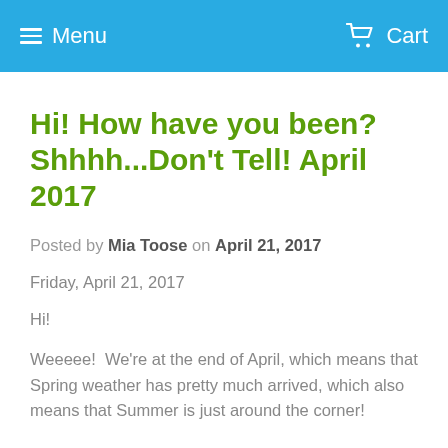Menu   Cart
Hi! How have you been? Shhhh...Don't Tell! April 2017
Posted by Mia Toose on April 21, 2017
Friday, April 21, 2017
Hi!
Weeeee!  We're at the end of April, which means that Spring weather has pretty much arrived, which also means that Summer is just around the corner!